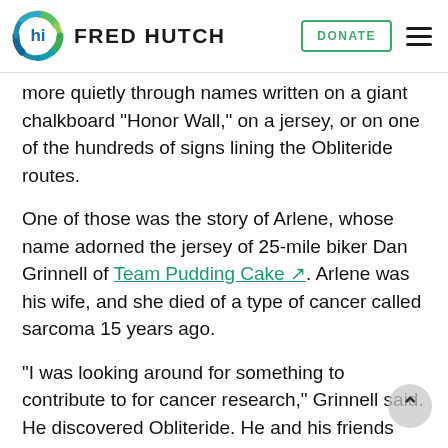FRED HUTCH
more quietly through names written on a giant chalkboard "Honor Wall," on a jersey, or on one of the hundreds of signs lining the Obliteride routes.
One of those was the story of Arlene, whose name adorned the jersey of 25-mile biker Dan Grinnell of Team Pudding Cake. Arlene was his wife, and she died of a type of cancer called sarcoma 15 years ago.
“I was looking around for something to contribute to for cancer research,” Grinnell said. He discovered Obliteride. He and his friends started their team, which they named after a favorite party dish.